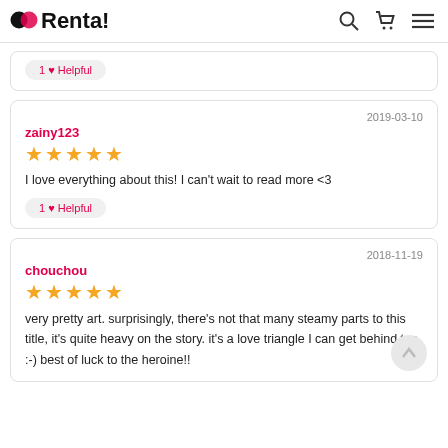Renta!
1 ♥ Helpful
2019-03-10
zainy123
★★★★★
I love everything about this! I can't wait to read more <3
1 ♥ Helpful
2018-11-19
chouchou
★★★★★
very pretty art. surprisingly, there's not that many steamy parts to this title, it's quite heavy on the story. it's a love triangle I can get behind too. :-) best of luck to the heroine!!